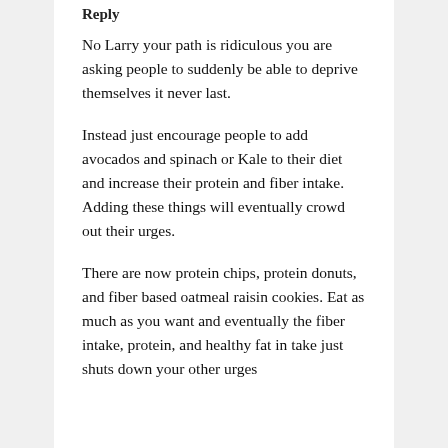Reply
No Larry your path is ridiculous you are asking people to suddenly be able to deprive themselves it never last.
Instead just encourage people to add avocados and spinach or Kale to their diet and increase their protein and fiber intake. Adding these things will eventually crowd out their urges.
There are now protein chips, protein donuts, and fiber based oatmeal raisin cookies. Eat as much as you want and eventually the fiber intake, protein, and healthy fat in take just shuts down your other urges